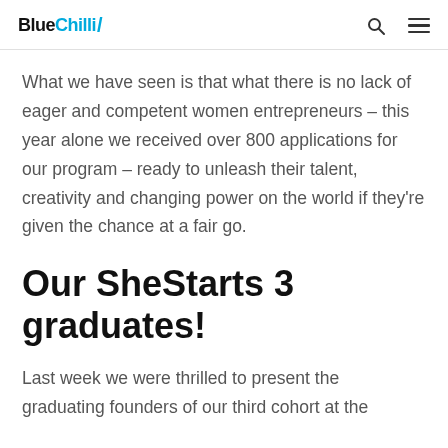BlueChilli
What we have seen is that what there is no lack of eager and competent women entrepreneurs – this year alone we received over 800 applications for our program – ready to unleash their talent, creativity and changing power on the world if they're given the chance at a fair go.
Our SheStarts 3 graduates!
Last week we were thrilled to present the graduating founders of our third cohort at the